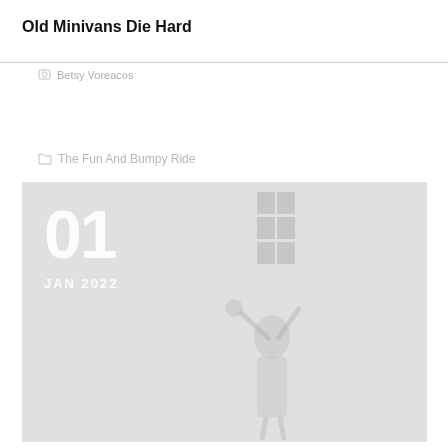Old Minivans Die Hard
Betsy Voreacos
The Fun And Bumpy Ride
[Figure (photo): Large faded/washed-out photo with date overlay showing '01' and 'JAN 2022' in white text, image shows a figure with arms raised holding something, against a building background]